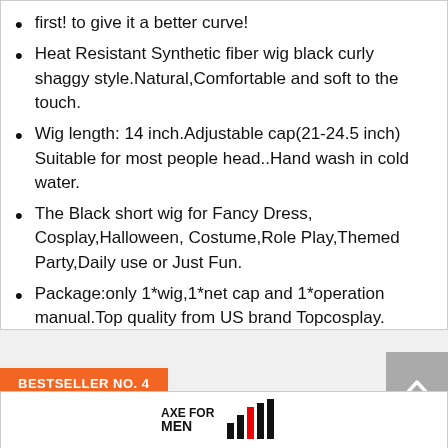first! to give it a better curve!
Heat Resistant Synthetic fiber wig black curly shaggy style.Natural,Comfortable and soft to the touch.
Wig length: 14 inch.Adjustable cap(21-24.5 inch) Suitable for most people head..Hand wash in cold water.
The Black short wig for Fancy Dress, Cosplay,Halloween, Costume,Role Play,Themed Party,Daily use or Just Fun.
Package:only 1*wig,1*net cap and 1*operation manual.Top quality from US brand Topcosplay.
[Figure (logo): Amazon Prime badge with orange checkmark and blue Prime text]
[Figure (other): Check Price button with shopping cart icon, gold/yellow background]
BESTSELLER NO. 4
[Figure (logo): Axe for Men brand logo with bar chart graphic]